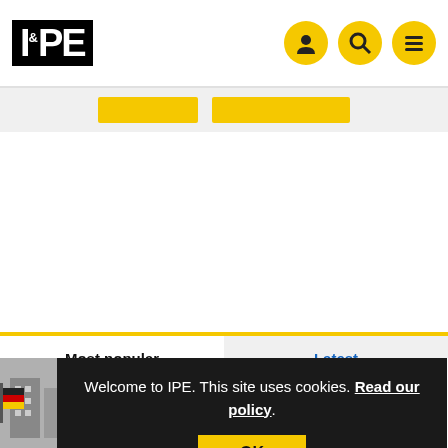IPE
Welcome to IPE. This site uses cookies. Read our policy.
OK
Most popular
Latest
Canada's top pension funds plan infrastructure investments in Germany